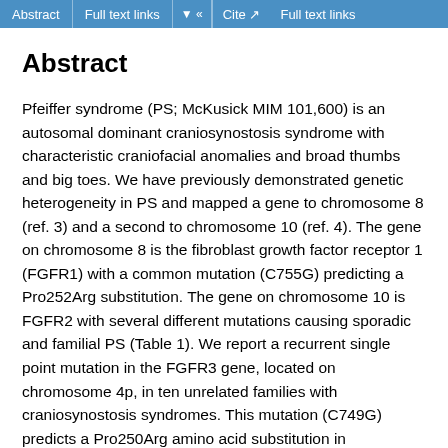Abstract | Full text links | Cite | Full text links
Abstract
Pfeiffer syndrome (PS; McKusick MIM 101,600) is an autosomal dominant craniosynostosis syndrome with characteristic craniofacial anomalies and broad thumbs and big toes. We have previously demonstrated genetic heterogeneity in PS and mapped a gene to chromosome 8 (ref. 3) and a second to chromosome 10 (ref. 4). The gene on chromosome 8 is the fibroblast growth factor receptor 1 (FGFR1) with a common mutation (C755G) predicting a Pro252Arg substitution. The gene on chromosome 10 is FGFR2 with several different mutations causing sporadic and familial PS (Table 1). We report a recurrent single point mutation in the FGFR3 gene, located on chromosome 4p, in ten unrelated families with craniosynostosis syndromes. This mutation (C749G) predicts a Pro250Arg amino acid substitution in